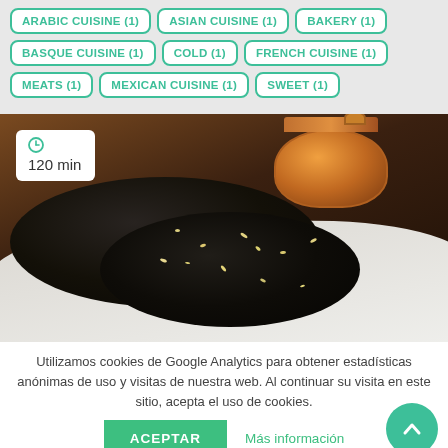ARABIC CUISINE (1)
ASIAN CUISINE (1)
BAKERY (1)
BASQUE CUISINE (1)
COLD (1)
FRENCH CUISINE (1)
MEATS (1)
MEXICAN CUISINE (1)
SWEET (1)
[Figure (photo): Dark sesame-covered bread loaves on white cloth with a copper pot in the background. Timer overlay shows 120 min.]
Utilizamos cookies de Google Analytics para obtener estadísticas anónimas de uso y visitas de nuestra web. Al continuar su visita en este sitio, acepta el uso de cookies.
ACEPTAR   Más información